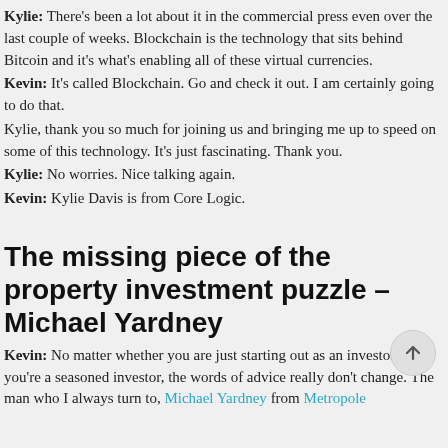Kylie: There's been a lot about it in the commercial press even over the last couple of weeks. Blockchain is the technology that sits behind Bitcoin and it's what's enabling all of these virtual currencies.
Kevin: It's called Blockchain. Go and check it out. I am certainly going to do that.
Kylie, thank you so much for joining us and bringing me up to speed on some of this technology. It's just fascinating. Thank you.
Kylie: No worries. Nice talking again.
Kevin: Kylie Davis is from Core Logic.
The missing piece of the property investment puzzle – Michael Yardney
Kevin: No matter whether you are just starting out as an investor or if you're a seasoned investor, the words of advice really don't change. The man who I always turn to, Michael Yardney from Metropole